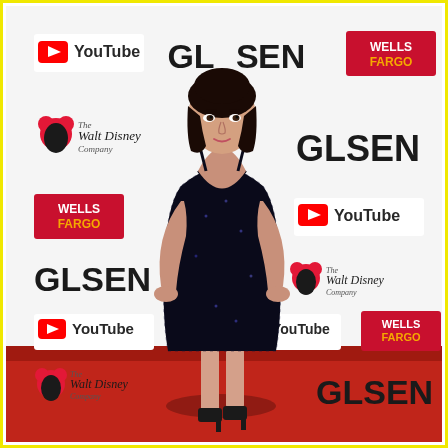[Figure (photo): A woman wearing a black sequined sleeveless midi dress with thin spaghetti straps and black heels stands on a red carpet in front of a GLSEN event step-and-repeat banner. The banner features repeated logos of GLSEN, YouTube, Wells Fargo (in red square), and The Walt Disney Company (with Mickey Mouse icon). The woman has dark hair pulled back and poses with hands on hips.]